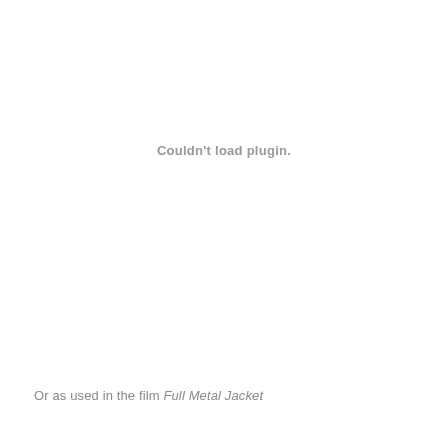Couldn't load plugin.
Or as used in the film Full Metal Jacket